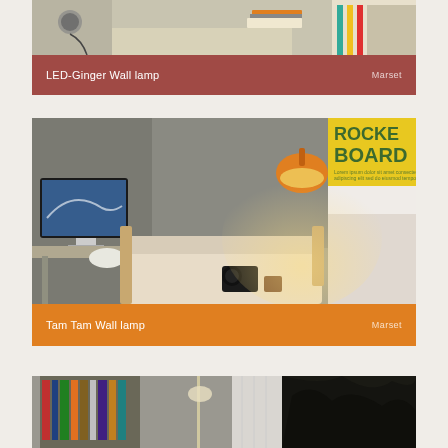[Figure (photo): Room interior with desk, power outlet visible, books stacked on desk, colorful shelving unit in background. Product: LED-Ginger Wall lamp by Marset.]
LED-Ginger Wall lamp    Marset
[Figure (photo): Hotel room interior showing an orange Tam Tam wall lamp illuminating the wall above a sofa. A computer monitor is visible on a desk to the left, a bed with white pillows to the right, and a yellow ROCKET BOARD poster on the wall.]
Tam Tam Wall lamp    Marset
[Figure (photo): Partial view of a room with bookshelves visible on the left and dark foliage/trees on the right.]